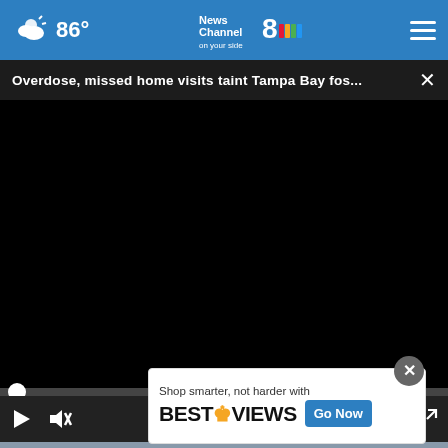86° News Channel 8 on your side
Overdose, missed home visits taint Tampa Bay fos...
[Figure (screenshot): Black video player with progress bar and controls showing 00:00 time]
[Figure (screenshot): Advertisement: Shop smarter, not harder with BESTREVIEWS - Go Now button]